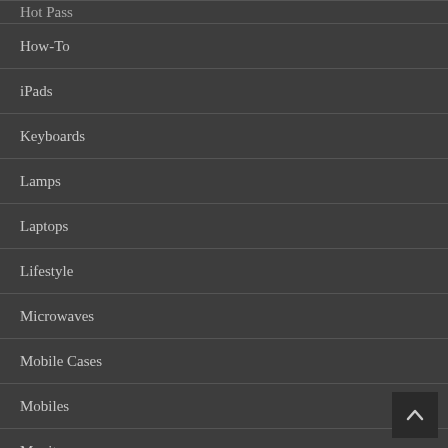Hot Pass
How-To
iPads
Keyboards
Lamps
Laptops
Lifestyle
Microwaves
Mobile Cases
Mobiles
Monitors
Mouse Pad